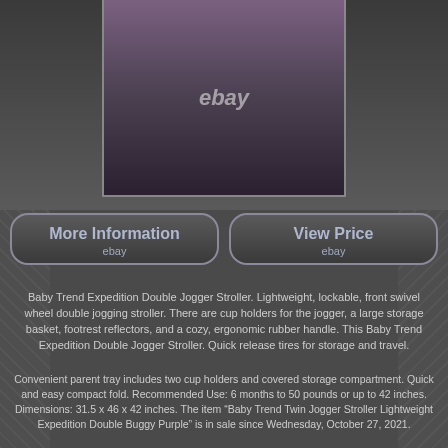[Figure (photo): Baby Trend Expedition Double Jogger Stroller product photo showing front view with purple seats and gray frame, eBay watermark overlay]
More Information
ebay
View Price
ebay
Baby Trend Expedition Double Jogger Stroller. Lightweight, lockable, front swivel wheel double jogging stroller. There are cup holders for the jogger, a large storage basket, footrest reflectors, and a cozy, ergonomic rubber handle. This Baby Trend Expedition Double Jogger Stroller. Quick release tires for storage and travel.
Convenient parent tray includes two cup holders and covered storage compartment. Quick and easy compact fold. Recommended Use: 6 months to 50 pounds or up to 42 inches. Dimensions: 31.5 x 46 x 42 inches. The item "Baby Trend Twin Jogger Stroller Lightweight Expedition Double Buggy Purple" is in sale since Wednesday, October 27, 2021.